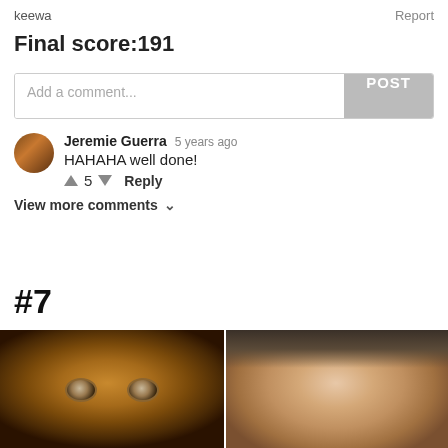keewa
Report
Final score:191
Add a comment...
POST
Jeremie Guerra  5 years ago
HAHAHA well done!
▲  5  ▼  Reply
View more comments ∨
#7
[Figure (photo): Two face photos side by side: left is a bronze/metallic statue face with brown tones and reflective eyes, right is a real person with short brown hair against a light grey background]